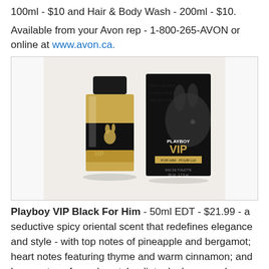100ml - $10 and Hair & Body Wash - 200ml - $10.
Available from your Avon rep - 1-800-265-AVON or online at www.avon.ca.
[Figure (photo): Playboy VIP Black For Him fragrance bottle (square glass bottle with black label and gold Playboy bunny logo) next to the black product box with the Playboy VIP branding and large bunny silhouette.]
Playboy VIP Black For Him - 50ml EDT - $21.99 - a seductive spicy oriental scent that redefines elegance and style - with top notes of pineapple and bergamot; heart notes featuring thyme and warm cinnamon; and base notes of woody patchouli, tonka bean, and leather notes.
Available now for a limited time at drugstores across Canada.